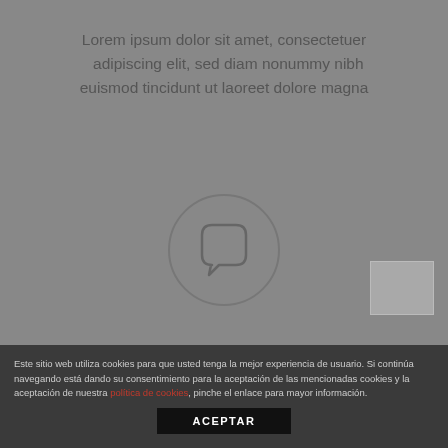Lorem ipsum dolor sit amet, consectetuer adipiscing elit, sed diam nonummy nibh euismod tincidunt ut laoreet dolore magna
[Figure (illustration): Circle icon with a speech bubble / chat symbol inside]
[Figure (infographic): Notification popup bar with close button reading: Venta online no disponible esta temporada.]
Venta online no disponible esta temporada.
Lorem ipsum dolor sit amet, consectetuer adipiscing elit, sed diam nonummy nibh euismod tincidunt ut laoreet dolore magna
Este sitio web utiliza cookies para que usted tenga la mejor experiencia de usuario. Si continúa navegando está dando su consentimiento para la aceptación de las mencionadas cookies y la aceptación de nuestra política de cookies, pinche el enlace para mayor información.
ACEPTAR